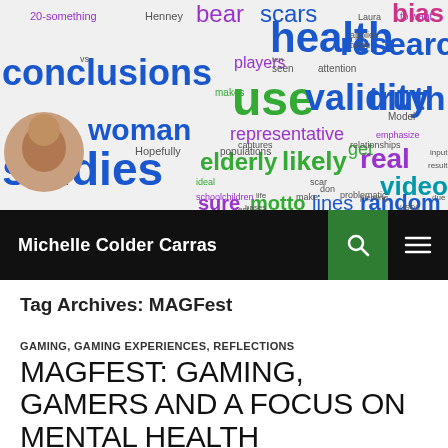[Figure (infographic): Word cloud with terms related to research and health: health, conclusions, studies, woman, use, validity, truth, research, real, video, random, likely, elderly, representative, sure, motto, lines, bear, scars, players, relationships, research, and many others in various colors (blue, purple, green, pink)]
Michelle Colder Carras
Tag Archives: MAGFest
GAMING, GAMING EXPERIENCES, REFLECTIONS
MAGFEST: GAMING, GAMERS AND A FOCUS ON MENTAL HEALTH
JANUARY 5, 2018  LEAVE A COMMENT